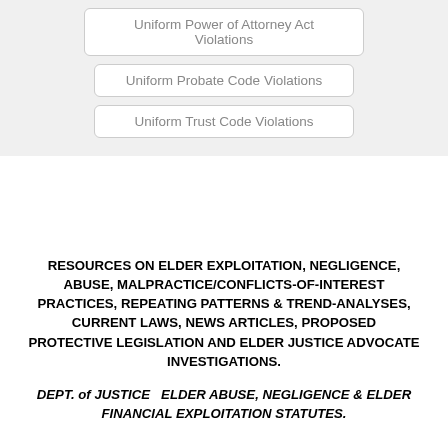Uniform Power of Attorney Act Violations
Uniform Probate Code Violations
Uniform Trust Code Violations
RESOURCES ON ELDER EXPLOITATION, NEGLIGENCE, ABUSE, MALPRACTICE/CONFLICTS-OF-INTEREST PRACTICES, REPEATING PATTERNS & TREND-ANALYSES, CURRENT LAWS, NEWS ARTICLES, PROPOSED PROTECTIVE LEGISLATION AND ELDER JUSTICE ADVOCATE INVESTIGATIONS.
DEPT. of JUSTICE  ELDER ABUSE, NEGLIGENCE & ELDER FINANCIAL EXPLOITATION STATUTES.